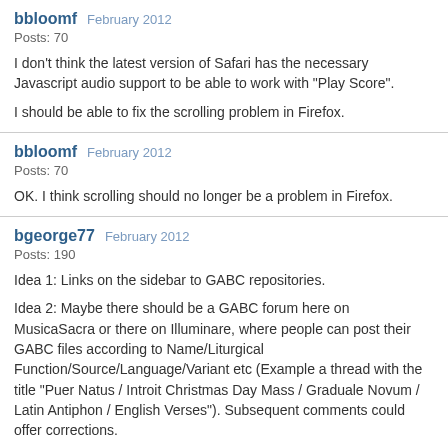bbloomf  February 2012
Posts: 70
I don't think the latest version of Safari has the necessary Javascript audio support to be able to work with "Play Score".

I should be able to fix the scrolling problem in Firefox.
bbloomf  February 2012
Posts: 70
OK. I think scrolling should no longer be a problem in Firefox.
bgeorge77  February 2012
Posts: 190
Idea 1: Links on the sidebar to GABC repositories.

Idea 2: Maybe there should be a GABC forum here on MusicaSacra or there on Illuminare, where people can post their GABC files according to Name/Liturgical Function/Source/Language/Variant etc (Example a thread with the title "Puer Natus / Introit Christmas Day Mass / Graduale Novum / Latin Antiphon / English Verses"). Subsequent comments could offer corrections.